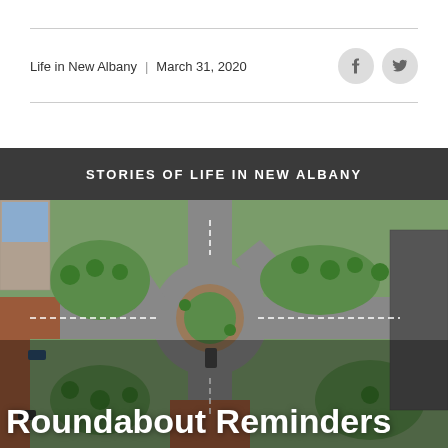Life in New Albany  |  March 31, 2020
STORIES OF LIFE IN NEW ALBANY
[Figure (photo): Aerial view of a roundabout intersection in New Albany with roads, cars, greenery, brick pavers, and surrounding buildings. Large white text overlay reads 'ROUNDABOUT' across the middle of the image.]
Roundabout Reminders